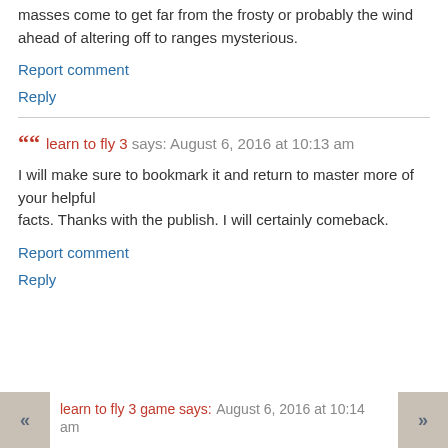masses come to get far from the frosty or probably the wind ahead of altering off to ranges mysterious.
Report comment
Reply
learn to fly 3 says: August 6, 2016 at 10:13 am
I will make sure to bookmark it and return to master more of your helpful facts. Thanks with the publish. I will certainly comeback.
Report comment
Reply
learn to fly 3 game says: August 6, 2016 at 10:14 am